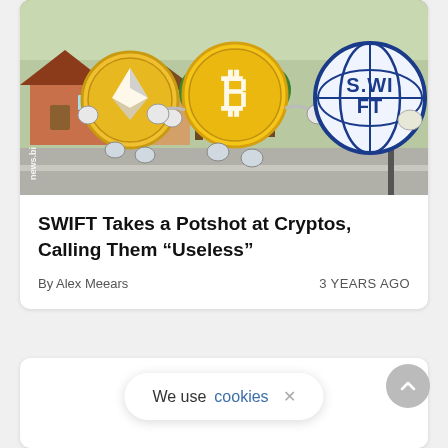[Figure (illustration): Illustration of cartoon Ethereum and Bitcoin coin characters walking toward a SWIFT logo globe/shield, set against a background of suburban houses and trees. Watermark 'news.bi' visible on left side.]
SWIFT Takes a Potshot at Cryptos, Calling Them “Useless”
By Alex Meears
3 YEARS AGO
We use cookies ×